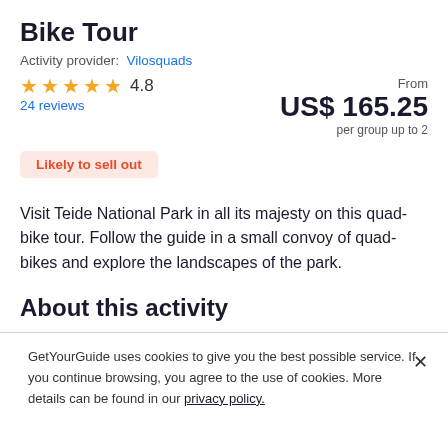Bike Tour
Activity provider: Vilosquads
★ ★ ★ ★ ★ 4.8
24 reviews
From
US$ 165.25
per group up to 2
Likely to sell out
Visit Teide National Park in all its majesty on this quad-bike tour. Follow the guide in a small convoy of quad-bikes and explore the landscapes of the park.
About this activity
GetYourGuide uses cookies to give you the best possible service. If you continue browsing, you agree to the use of cookies. More details can be found in our privacy policy.